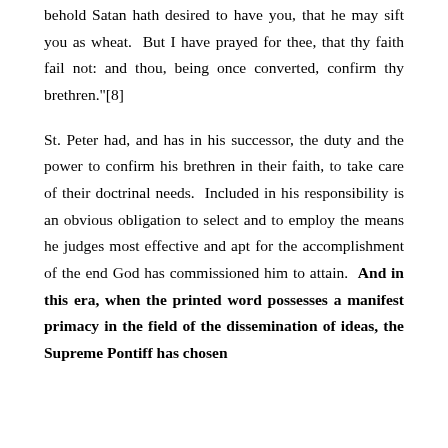behold Satan hath desired to have you, that he may sift you as wheat.  But I have prayed for thee, that thy faith fail not: and thou, being once converted, confirm thy brethren."[8]
St. Peter had, and has in his successor, the duty and the power to confirm his brethren in their faith, to take care of their doctrinal needs.  Included in his responsibility is an obvious obligation to select and to employ the means he judges most effective and apt for the accomplishment of the end God has commissioned him to attain.  And in this era, when the printed word possesses a manifest primacy in the field of the dissemination of ideas, the Supreme Pontiff has chosen...